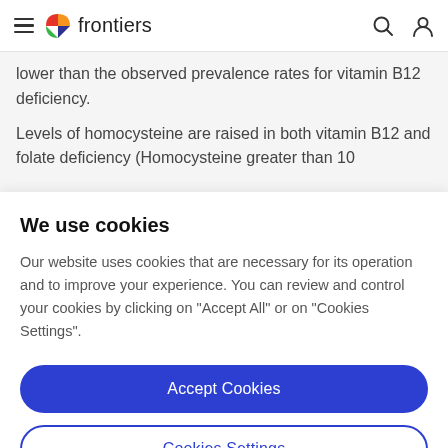frontiers
lower than the observed prevalence rates for vitamin B12 deficiency.
Levels of homocysteine are raised in both vitamin B12 and folate deficiency (Homocysteine greater than 10
We use cookies
Our website uses cookies that are necessary for its operation and to improve your experience. You can review and control your cookies by clicking on "Accept All" or on "Cookies Settings".
Accept Cookies
Cookies Settings